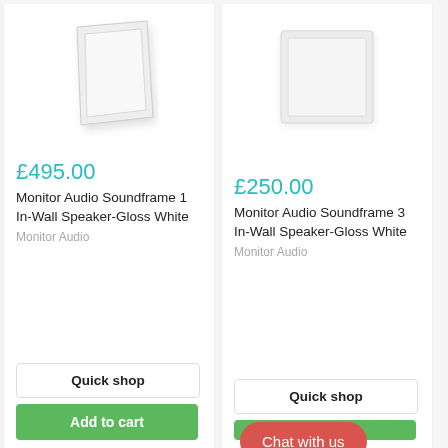[Figure (photo): Monitor Audio Soundframe 1 In-Wall Speaker in Gloss White – angled view of a square white panel]
£495.00
Monitor Audio Soundframe 1 In-Wall Speaker-Gloss White
Monitor Audio
Quick shop
Add to cart
[Figure (photo): Monitor Audio Soundframe 3 In-Wall Speaker in Gloss White – flat square white panel, front view]
£250.00
Monitor Audio Soundframe 3 In-Wall Speaker-Gloss White
Monitor Audio
Quick shop
Chat with us